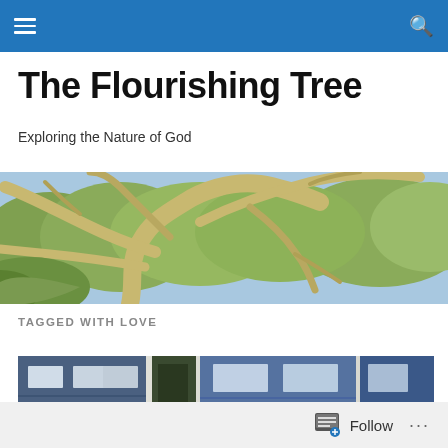Navigation bar with menu and search icons
The Flourishing Tree
Exploring the Nature of God
[Figure (photo): Overhead view of a large tree with spreading gnarly branches against a background of green leafy trees and blue sky]
TAGGED WITH LOVE
[Figure (photo): Strip photo showing building exteriors with blue siding and windows]
Follow  ...